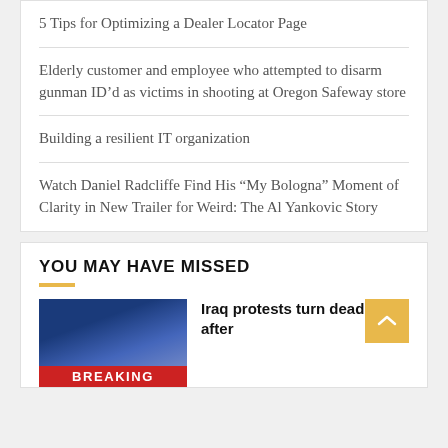5 Tips for Optimizing a Dealer Locator Page
Elderly customer and employee who attempted to disarm gunman ID'd as victims in shooting at Oregon Safeway store
Building a resilient IT organization
Watch Daniel Radcliffe Find His “My Bologna” Moment of Clarity in New Trailer for Weird: The Al Yankovic Story
YOU MAY HAVE MISSED
[Figure (photo): Breaking news image with blue background and red BREAKING banner at bottom]
Iraq protests turn deadly after